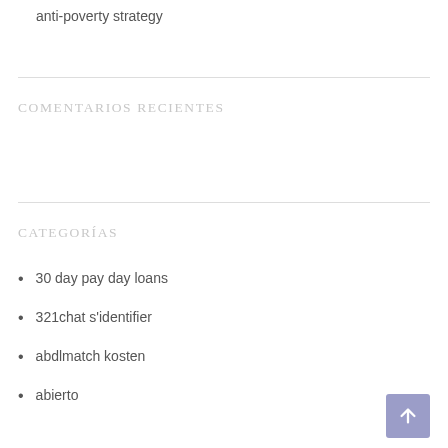anti-poverty strategy
COMENTARIOS RECIENTES
CATEGORÍAS
30 day pay day loans
321chat s'identifier
abdlmatch kosten
abierto